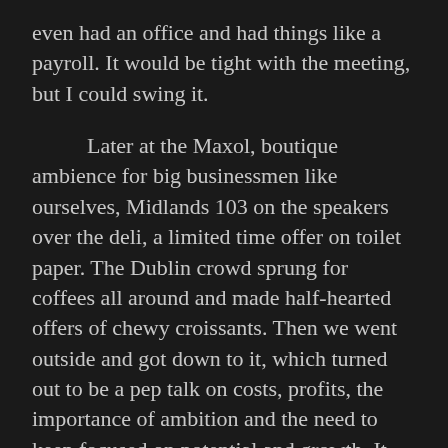even had an office and had things like a payroll. It would be tight with the meeting, but I could swing it.
Later at the Maxol, boutique ambience for big businessmen like ourselves, Midlands 103 on the speakers over the deli, a limited time offer on toilet paper. The Dublin crowd sprung for coffees all around and made half-hearted offers of chewy croissants. Then we went outside and got down to it, which turned out to be a pep talk on costs, profits, the importance of ambition and the need to keep focused on potential and growth. It was hard to hear them after a while cos there was a lad power washing an Audi and the spray was kind of drifting over into our eyes and landing on the rim of the cups. There was no move on more money, or a raise, and the lower target was taken into consideration – which was a way of asking us to consider it –